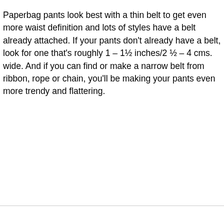Paperbag pants look best with a thin belt to get even more waist definition and lots of styles have a belt already attached. If your pants don't already have a belt, look for one that's roughly 1 – 1½ inches/2 ½ – 4 cms. wide. And if you can find or make a narrow belt from ribbon, rope or chain, you'll be making your pants even more trendy and flattering.